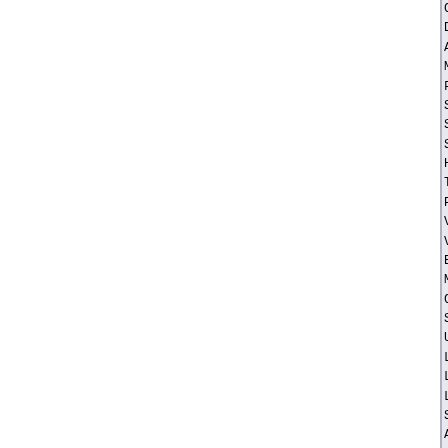CLFLSH (CLFLUSH i...
DS (Debug store)
ACPI (ACPI suppo...
MMX (MMX technol...
FXSR (Fast float...
SSE (Streaming S...
SSE2 (Streaming ...
SS (Self-snoop)
HTT (Hyper-threa...
TM (Thermal moni...
PBE (Pending bre...
Version: Pentium(R) Dual...
Voltage: 1.6 V
External Clock: 200 MHz
Max Speed: 2200 MHz
Current Speed: 1200 MHz
Status: Populated, Enabl...
Upgrade: <OUT OF SPEC>
L1 Cache Handle: 0x0020...
L2 Cache Handle: 0x001E...
L3 Cache Handle: Not Pro...
Serial Number: Not Speci...
Asset Tag: FFFF
Part Number: FFFF
Handle 0x001E, DMI type 7, 19 by...
Cache Information
        Socket Designation: L2 C...
        Configuration: Enabled,...
        Operational Mode: Write...
        Location: Internal
        Installed Size: 1024 kB
        Maximum Size: 1024 kB